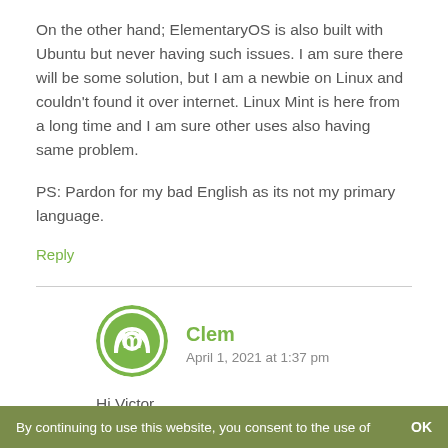On the other hand; ElementaryOS is also built with Ubuntu but never having such issues. I am sure there will be some solution, but I am a newbie on Linux and couldn't found it over internet. Linux Mint is here from a long time and I am sure other uses also having same problem.

PS: Pardon for my bad English as its not my primary language.
Reply
[Figure (logo): Linux Mint circular logo with green background and white mint symbol]
Clem
April 1, 2021 at 1:37 pm
Hi Victor,
By continuing to use this website, you consent to the use of    OK